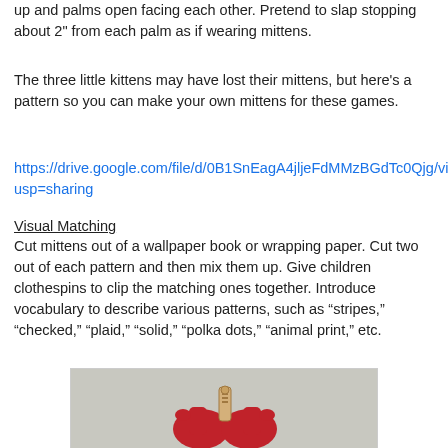up and palms open facing each other. Pretend to slap stopping about 2" from each palm as if wearing mittens.
The three little kittens may have lost their mittens, but here's a pattern so you can make your own mittens for these games.
https://drive.google.com/file/d/0B1SnEagA4jljeFdMMzBGdTc0Qjg/view?usp=sharing
Visual Matching
Cut mittens out of a wallpaper book or wrapping paper. Cut two out of each pattern and then mix them up. Give children clothespins to clip the matching ones together. Introduce vocabulary to describe various patterns, such as “stripes,” “checked,” “plaid,” “solid,” “polka dots,” “animal print,” etc.
[Figure (photo): Photo of two red felt mittens clipped together with a wooden clothespin, on a grey fabric background.]